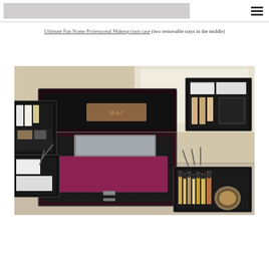Ultimate Fun Nome Professional Makeup train case (two removable trays in the middle)
[Figure (photo): Open professional makeup train case (dark reddish/maroon exterior) with multiple removable trays displayed open on a table. Left and right accordion trays extend outward showing makeup products. Two removable trays are placed in front/beside the case containing brushes, palettes, and cosmetics.]